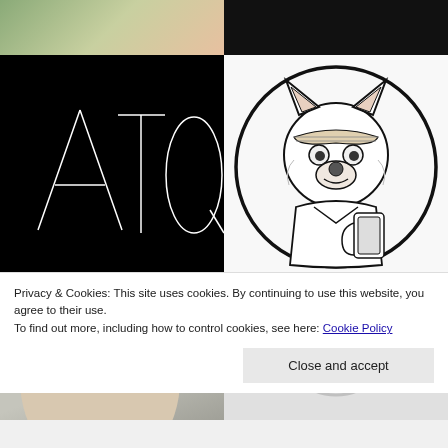[Figure (photo): Top-left: partial photo of a person outdoors, green/natural background]
[Figure (photo): Top-right: dark/black photo, appears to show furniture or letters in low light]
[Figure (logo): Middle-left: black background with white thin letters ATQ]
[Figure (illustration): Middle-right: circular illustration of a wolf/dog character wearing a bandana and holding a phone, line art style]
[Figure (photo): Bottom-left: photo of a person with dark hair, close-up portrait]
[Figure (illustration): Bottom-right: gray generic user avatar/profile icon]
Privacy & Cookies: This site uses cookies. By continuing to use this website, you agree to their use.
To find out more, including how to control cookies, see here: Cookie Policy
Close and accept